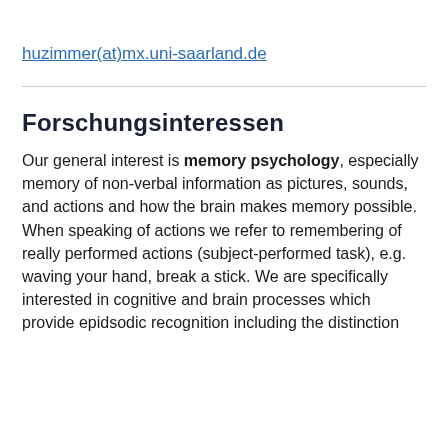huzimmer(at)mx.uni-saarland.de
Forschungsinteressen
Our general interest is memory psychology, especially memory of non-verbal information as pictures, sounds, and actions and how the brain makes memory possible. When speaking of actions we refer to remembering of really performed actions (subject-performed task), e.g. waving your hand, break a stick. We are specifically interested in cognitive and brain processes which provide epidsodic recognition including the distinction